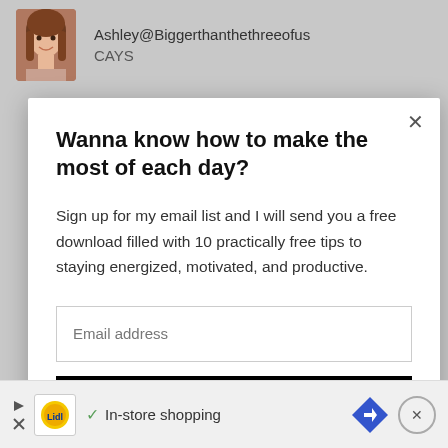[Figure (screenshot): Top bar showing avatar photo of a woman with brown hair, username 'Ashley@Biggerthanthethreeofus' and partial text 'CAYS' on gray background]
Wanna know how to make the most of each day?
Sign up for my email list and I will send you a free download filled with 10 practically free tips to staying energized, motivated, and productive.
Email address
Subscribe
[Figure (screenshot): Bottom ad bar for Lidl showing play/X buttons, Lidl logo, checkmark, 'In-store shopping' text, blue diamond arrow button, and circular X close button]